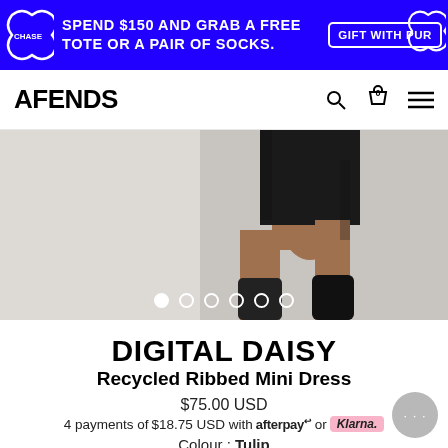SPEND $150 AND GRAB A FREE TOTE OR A PAIR OF SOCKS. GIFT WITH PURCHASE
AFENDS
[Figure (photo): Close-up cropped photo of a model wearing a black ribbed mini dress, showing legs and lower body against a light grey/white background. Carousel navigation dots visible at bottom.]
DIGITAL DAISY
Recycled Ribbed Mini Dress
$75.00 USD
4 payments of $18.75 USD with afterpay or Klarna.
Colour : Tulip